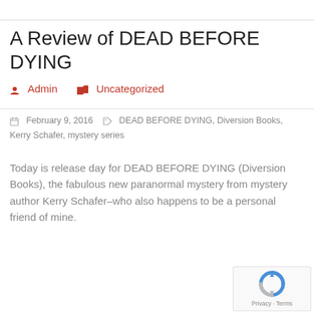A Review of DEAD BEFORE DYING
Admin   Uncategorized
February 9, 2016   DEAD BEFORE DYING, Diversion Books, Kerry Schafer, mystery series
Today is release day for DEAD BEFORE DYING (Diversion Books), the fabulous new paranormal mystery from mystery author Kerry Schafer–who also happens to be a personal friend of mine.
Read more
[Figure (logo): reCAPTCHA logo with Privacy · Terms text]